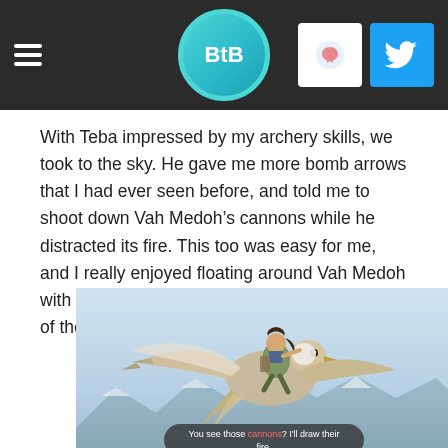BtB
With Teba impressed by my archery skills, we took to the sky. He gave me more bomb arrows that I had ever seen before, and told me to shoot down Vah Medoh’s cannons while he distracted its fire. This too was easy for me, and I really enjoyed floating around Vah Medoh with my paraglider. It definitely was my favorite of the Divine Beast boarding tasks.
[Figure (screenshot): Screenshot from The Legend of Zelda: Breath of the Wild showing Link riding on a giant bird (Vah Medoh eagle/Rito) in the sky, with a dialogue subtitle bar at the bottom reading: You see those [cannons]? I'll draw their fire.]